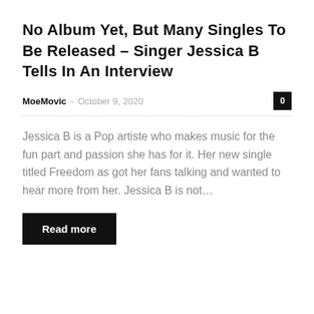No Album Yet, But Many Singles To Be Released – Singer Jessica B Tells In An Interview
MoeMovic · October 9, 2020
Jessica B is a Pop artiste who makes music for the fun part and passion she has for it. Her new single titled Freedom as got her fans talking and wanted to hear more from her. Jessica B is not...
Read more